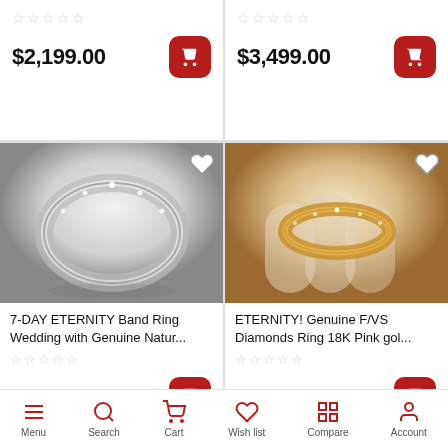$2,199.00
$3,499.00
[Figure (photo): Silver diamond eternity band ring displayed in a jewelry box]
[Figure (photo): Rose gold diamond eternity band ring on white fabric]
7-DAY ETERNITY Band Ring Wedding with Genuine Natur...
ETERNITY! Genuine F/VS Diamonds Ring 18K Pink gol...
$1,399.00
$799.00
Menu  Search  Cart  Wish list  Compare  Account